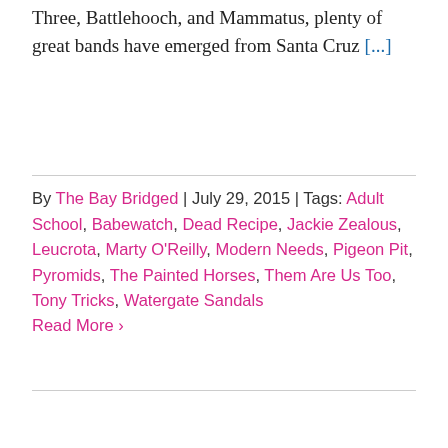Three, Battlehooch, and Mammatus, plenty of great bands have emerged from Santa Cruz [...]
By The Bay Bridged | July 29, 2015 | Tags: Adult School, Babewatch, Dead Recipe, Jackie Zealous, Leucrota, Marty O'Reilly, Modern Needs, Pigeon Pit, Pyromids, The Painted Horses, Them Are Us Too, Tony Tricks, Watergate Sandals Read More ›